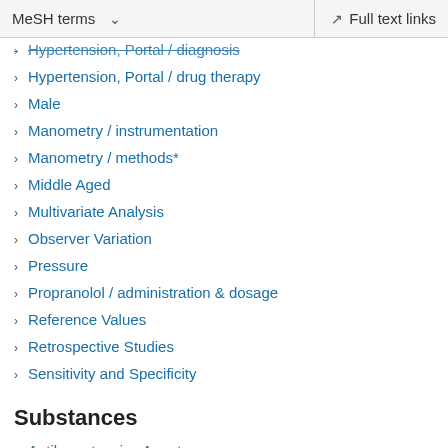MeSH terms  ∨    Full text links
Hypertension, Portal / diagnosis
Hypertension, Portal / drug therapy
Male
Manometry / instrumentation
Manometry / methods*
Middle Aged
Multivariate Analysis
Observer Variation
Pressure
Propranolol / administration & dosage
Reference Values
Retrospective Studies
Sensitivity and Specificity
Substances
Antihypertensive Agents
Propranolol